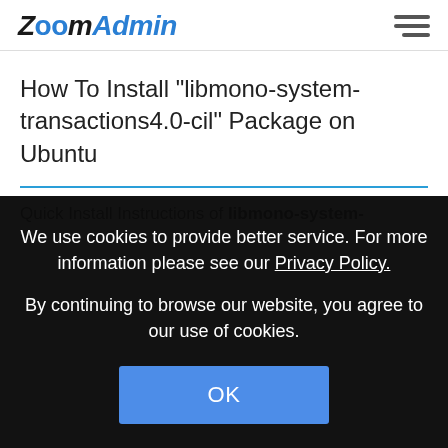ZoomAdmin
How To Install "libmono-system-transactions4.0-cil" Package on Ubuntu
Quick Install Instructions of libmono-system-
We use cookies to provide better service. For more information please see our Privacy Policy.
By continuing to browse our website, you agree to our use of cookies.
OK